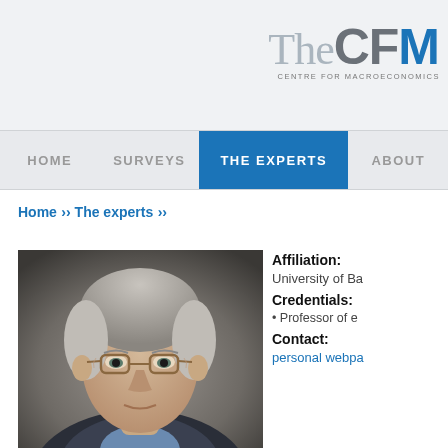[Figure (logo): The CFM Centre for Macroeconomics logo with grey 'The CF' and blue 'M' lettering]
HOME   SURVEYS   THE EXPERTS   ABOUT
Home >> The experts >>
[Figure (photo): Professional headshot of a middle-aged male economist with grey hair and glasses]
Affiliation: University of Ba...
Credentials:
• Professor of e...
Contact:
personal webpa...